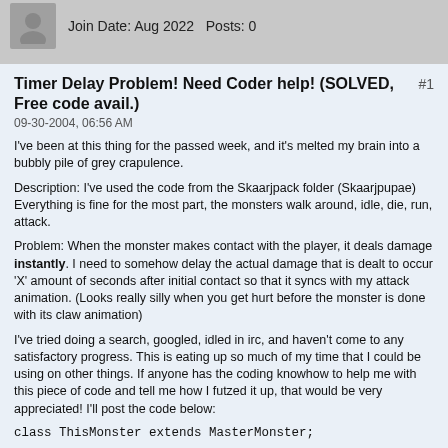Join Date: Aug 2022   Posts: 0
Timer Delay Problem! Need Coder help! (SOLVED, Free code avail.)
09-30-2004, 06:56 AM
I've been at this thing for the passed week, and it's melted my brain into a bubbly pile of grey crapulence.
Description: I've used the code from the Skaarjpack folder (Skaarjpupae) Everything is fine for the most part, the monsters walk around, idle, die, run, attack.
Problem: When the monster makes contact with the player, it deals damage instantly. I need to somehow delay the actual damage that is dealt to occur 'X' amount of seconds after initial contact so that it syncs with my attack animation. (Looks really silly when you get hurt before the monster is done with its claw animation)
I've tried doing a search, googled, idled in irc, and haven't come to any satisfactory progress. This is eating up so much of my time that I could be using on other things. If anyone has the coding knowhow to help me with this piece of code and tell me how I futzed it up, that would be very appreciated! I'll post the code below:
class ThisMonster extends MasterMonster;
var name DeathAnims[2];